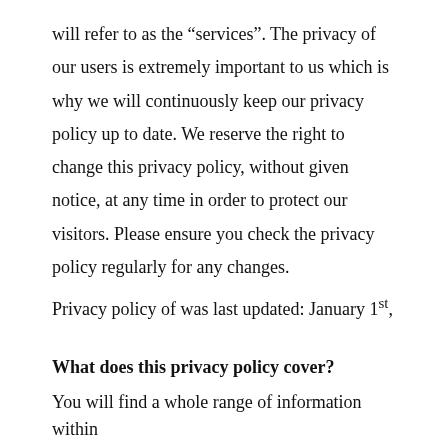will refer to as the “services”. The privacy of our users is extremely important to us which is why we will continuously keep our privacy policy up to date. We reserve the right to change this privacy policy, without given notice, at any time in order to protect our visitors. Please ensure you check the privacy policy regularly for any changes.
Privacy policy of was last updated: January 1st,
What does this privacy policy cover?
You will find a whole range of information within